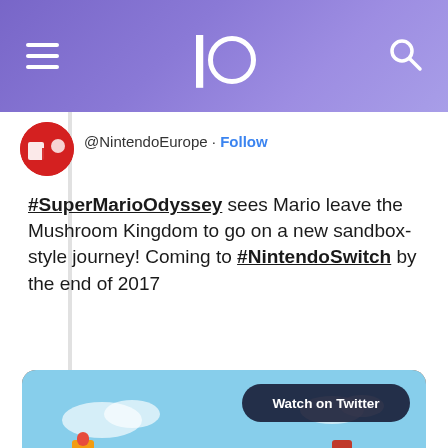IO
@NintendoEurope · Follow
#SuperMarioOdyssey sees Mario leave the Mushroom Kingdom to go on a new sandbox-style journey! Coming to #NintendoSwitch by the end of 2017
[Figure (screenshot): Video thumbnail showing a colorful Super Mario Odyssey scene with a Watch on Twitter button and a play button overlay]
Similar hype followed for just about every game Nintendo revealed in one form or another, and the games shown last night are just a very small piece of what's in store for the Switch. According to Nintendo, there are currently over 80 titles in the works which is pretty big news!